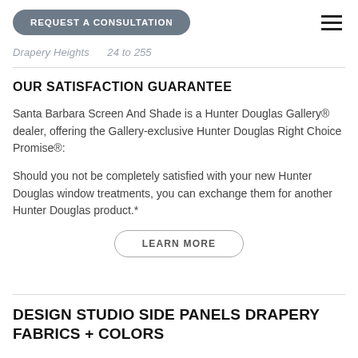REQUEST A CONSULTATION
Drapery Heights    24 to 255
OUR SATISFACTION GUARANTEE
Santa Barbara Screen And Shade is a Hunter Douglas Gallery® dealer, offering the Gallery-exclusive Hunter Douglas Right Choice Promise®:
Should you not be completely satisfied with your new Hunter Douglas window treatments, you can exchange them for another Hunter Douglas product.*
LEARN MORE
DESIGN STUDIO SIDE PANELS DRAPERY FABRICS + COLORS